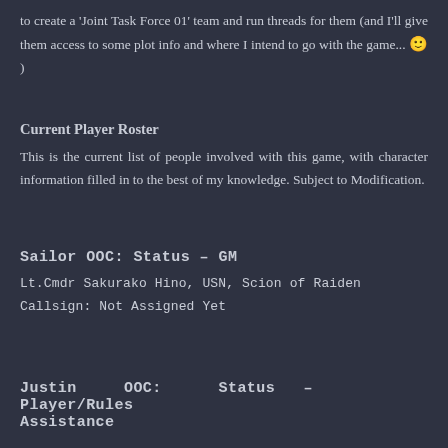to create a 'Joint Task Force 01' team and run threads for them (and I'll give them access to some plot info and where I intend to go with the game... 🙂 )
Current Player Roster
This is the current list of people involved with this game, with character information filled in to the best of my knowledge. Subject to Modification.
Sailor OOC: Status – GM
Lt.Cmdr Sakurako Hino, USN, Scion of Raiden
Callsign: Not Assigned Yet
Justin OOC: Status – Player/Rules Assistance